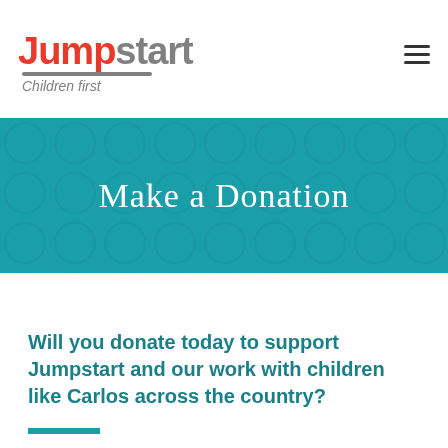Jumpstart Children first
Make a Donation
Will you donate today to support Jumpstart and our work with children like Carlos across the country?